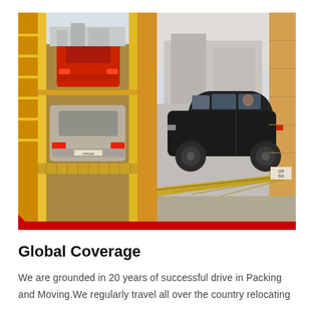[Figure (photo): Composite photo showing two scenes of car transportation in trucks. Left side: a yellow-interior truck/carrier with two cars stacked — a red car on top and a silver/grey SUV on the bottom level. Right side: a black sedan being loaded via ramp into a truck carrier. A red accent bar and triangle appear at the bottom of the image.]
Global Coverage
We are grounded in 20 years of successful drive in Packing and Moving.We regularly travel all over the country relocating